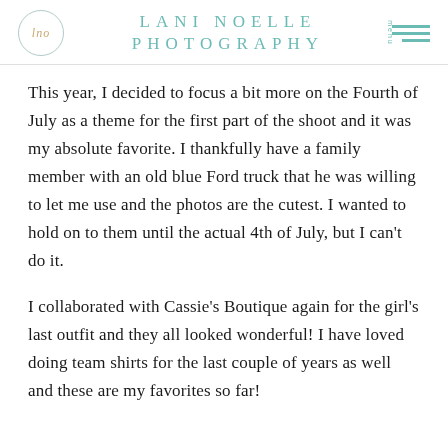Lani Noelle Photography
This year, I decided to focus a bit more on the Fourth of July as a theme for the first part of the shoot and it was my absolute favorite. I thankfully have a family member with an old blue Ford truck that he was willing to let me use and the photos are the cutest. I wanted to hold on to them until the actual 4th of July, but I can't do it.
I collaborated with Cassie's Boutique again for the girl's last outfit and they all looked wonderful! I have loved doing team shirts for the last couple of years as well and these are my favorites so far!